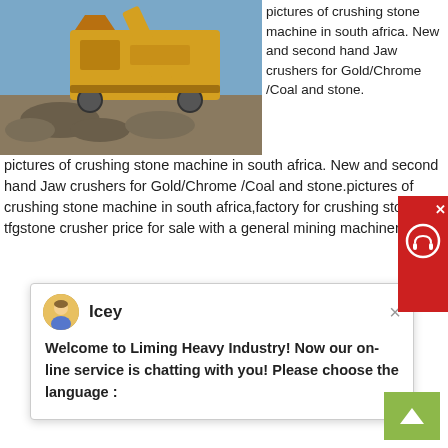[Figure (photo): Yellow stone crushing machine / jaw crusher equipment outdoors with rocky debris and blue sky]
pictures of crushing stone machine in south africa. New and second hand Jaw crushers for Gold/Chrome /Coal and stone.pictures of crushing stone machine in south africa,factory for crushing sto... tfgstone crusher price for sale with a general mining machiner...
[Figure (screenshot): Live chat popup from Liming Heavy Industry with avatar named Icey saying: Welcome to Liming Heavy Industry! Now our on-line service is chatting with you! Please choose the language :]
<< Previous: With 3 Type Grinder
>> Next: Portable Rock Crusher For Rent Canada
hp 963 medium speed mill roller
magnetic drum for magnetic encoder
ceramic tiles grinding mc available chennai
what is the mineral dolomite used for